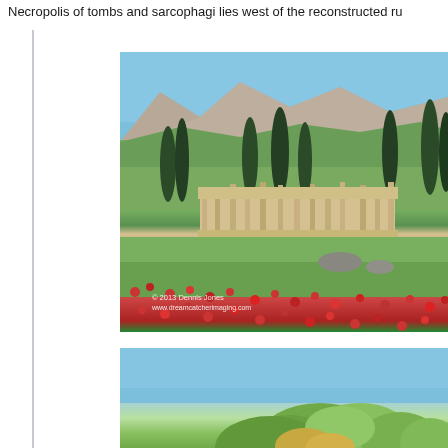Necropolis of tombs and sarcophagi lies west of the reconstructed ru
[Figure (photo): Photograph of ancient Greek/Roman ruins (Hierapolis) with tall cypress trees, a mountain backdrop, green meadow with red poppies in the foreground, and stone column ruins. Watermark reads: © 2013 Dennis Jones www.dreamcatcherimaging.com]
[Figure (photo): Partial photograph showing blue sky and green foliage/trees, appears to be another view of the same archaeological site.]